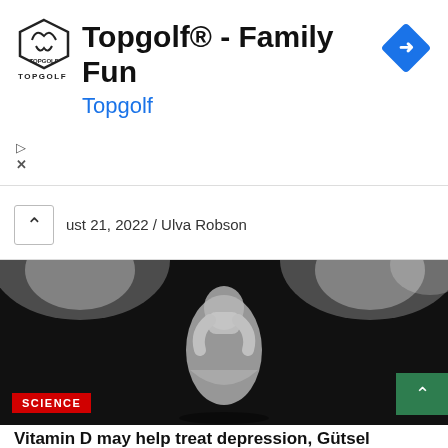[Figure (other): Topgolf advertisement banner with logo, title 'Topgolf® - Family Fun', subtitle 'Topgolf', navigation diamond icon, play and close icons]
ust 21, 2022 / Ulva Robson
[Figure (photo): Black and white photo of a person from behind, holding their face in their hands, with bright stadium lights in the background. A red 'SCIENCE' badge is shown in the lower left corner.]
Vitamin D may help treat depression, Gütsel